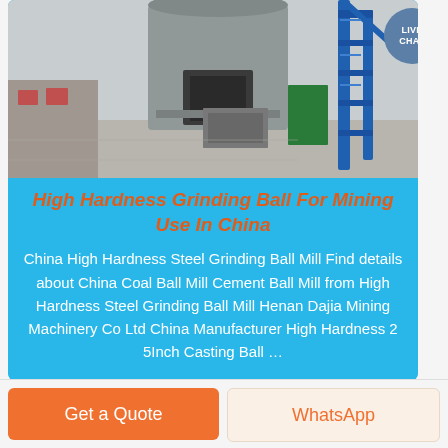[Figure (photo): Industrial facility with a large cylindrical concrete silo/tower structure and blue metal crane/equipment in the background, overcast sky]
High Hardness Grinding Ball For Mining Use In China
China High Hardness Steel Grinding Ball Mill Find details about China Coal Ball Mill Cement Ball Mill from High Hardness Steel Grinding Ball Mill Henan Dajia Mining Machinery Co Ltd China Manufacturer High Hardness 2 5Inch Casting Ball …